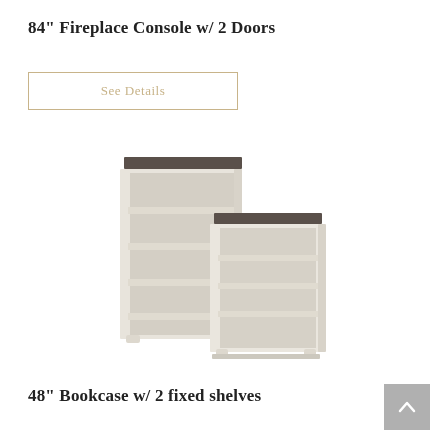84" Fireplace Console w/ 2 Doors
See Details
[Figure (photo): Two white/grey distressed wood bookcases with dark tops, shown side by side — one taller (84") and one shorter (48"), both with open shelves.]
48" Bookcase w/ 2 fixed shelves